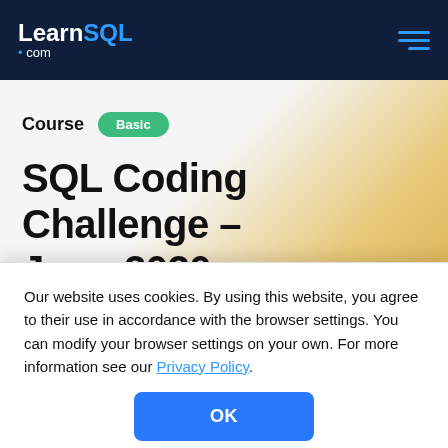LearnSQL .com
Course  Basic
SQL Coding Challenge – June 2020
Our website uses cookies. By using this website, you agree to their use in accordance with the browser settings. You can modify your browser settings on your own. For more information see our Privacy Policy.
OK